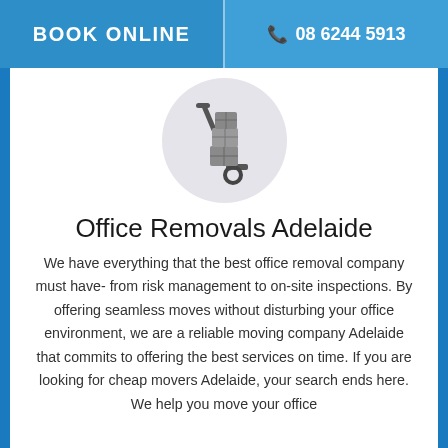BOOK ONLINE  📞 08 6244 5913
[Figure (illustration): A hand truck/dolly with stacked boxes icon inside a light grey circle]
Office Removals Adelaide
We have everything that the best office removal company must have- from risk management to on-site inspections. By offering seamless moves without disturbing your office environment, we are a reliable moving company Adelaide that commits to offering the best services on time. If you are looking for cheap movers Adelaide, your search ends here. We help you move your office